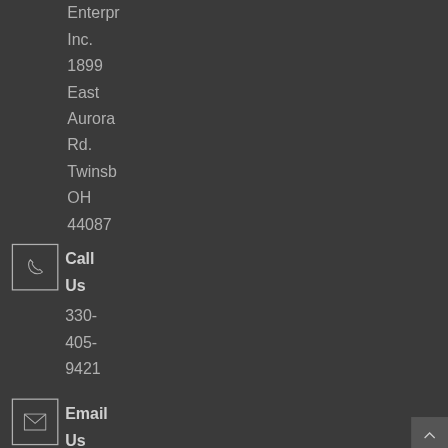Enterpr Inc. 1899 East Aurora Rd. Twinsb OH 44087
[Figure (illustration): Phone handset icon inside a square border box]
Call Us
330-405-9421
[Figure (illustration): Envelope/email icon inside a square border box]
Email Us